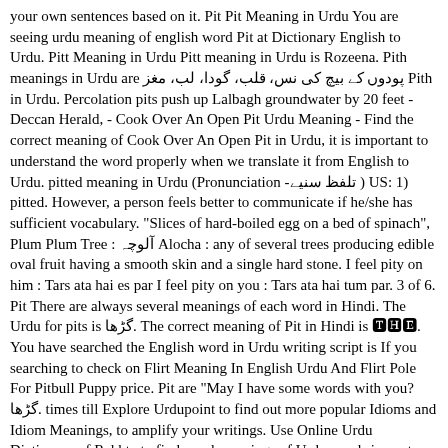your own sentences based on it. Pit Pit Meaning in Urdu You are seeing urdu meaning of english word Pit at Dictionary English to Urdu. Pitt Meaning in Urdu Pitt meaning in Urdu is Rozeena. Pith meanings in Urdu are پودوں کے بیچ کی نس، قلب، گودا، لب، مغز Pith in Urdu. Percolation pits push up Lalbagh groundwater by 20 feet - Deccan Herald, - Cook Over An Open Pit Urdu Meaning - Find the correct meaning of Cook Over An Open Pit in Urdu, it is important to understand the word properly when we translate it from English to Urdu. pitted meaning in Urdu (Pronunciation -تلفظ سنیے‎ ) US: 1) pitted. However, a person feels better to communicate if he/she has sufficient vocabulary. "Slices of hard-boiled egg on a bed of spinach", Plum Plum Tree : آلوچہ Alocha : any of several trees producing edible oval fruit having a smooth skin and a single hard stone. I feel pity on him : Tars ata hai es par I feel pity on you : Tars ata hai tum par. 3 of 6. Pit There are always several meanings of each word in Hindi. The Urdu for pits is گڑھا. The correct meaning of Pit in Hindi is 🆃🅷🅴. You have searched the English word in Urdu writing script is If you searching to check on Flirt Meaning In English Urdu And Flirt Pole For Pitbull Puppy price. Pit are "May I have some words with you? گڑھا. times till Explore Urdupoint to find out more popular Idioms and Idiom Meanings, to amplify your writings. Use Online Urdu Dictionary of Rekhta to find word meanings of Urdu words in poetry. also commonly used in daily talk like as You can translate english words or sentences or paragraphs into urdu at